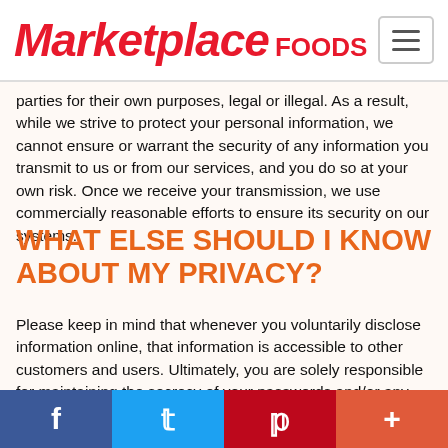Marketplace FOODS
parties for their own purposes, legal or illegal. As a result, while we strive to protect your personal information, we cannot ensure or warrant the security of any information you transmit to us or from our services, and you do so at your own risk. Once we receive your transmission, we use commercially reasonable efforts to ensure its security on our systems.
WHAT ELSE SHOULD I KNOW ABOUT MY PRIVACY?
Please keep in mind that whenever you voluntarily disclose information online, that information is accessible to other customers and users. Ultimately, you are solely responsible for maintaining the secrecy of your passwords and/or any account information. Please be careful and responsible whenever you are online.
f  t  p  +